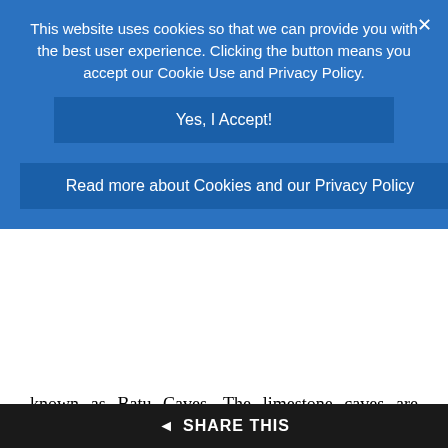This website uses cookies so that we can provide you with the best user experience. Clicking the button means you accept our Cookie Use and Privacy Policy.
Yes, I Accept!
Read more about Cookies and our Privacy Policy
known as Batu Caves. The limestone caves are located at the top of a grueling 276 step staircase, but you will be rewarded for your effort. Although the caves are impressive in their own right, the site may be more famous because it is the venue for the annual Thaipusam Festival. Ranking as one of the most significant Hindu celebrations outside of India, Thaipusam attracts visitors from all over the world. If walking the 276 steps is not enough exercise for the
◄ SHARE THIS